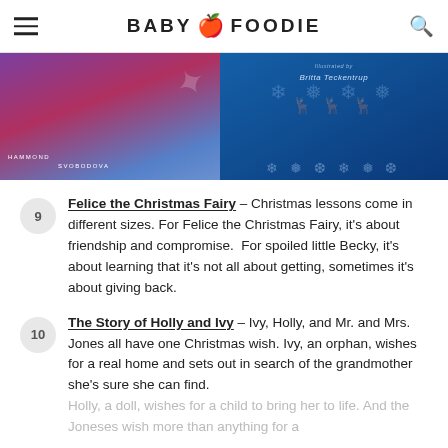BABY FOODIE
[Figure (photo): Two book covers side by side: left is a purple/red Christmas-themed book with authors Hammond and Svobodova, right is a blue book with snowflakes illustrated by Britta Teckentrup]
9 Felice the Christmas Fairy – Christmas lessons come in different sizes. For Felice the Christmas Fairy, it's about friendship and compromise. For spoiled little Becky, it's about learning that it's not all about getting, sometimes it's about giving back.
10 The Story of Holly and Ivy – Ivy, Holly, and Mr. and Mrs. Jones all have one Christmas wish. Ivy, an orphan, wishes for a real home and sets out in search of the grandmother she's sure she can find. Holly, a doll, wishes for a child to bring her to life. And the Joneses wish more than anything for a